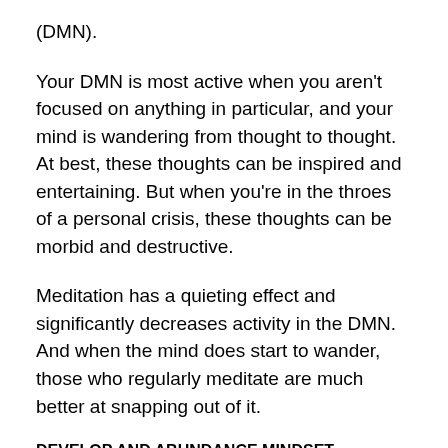(DMN).
Your DMN is most active when you aren't focused on anything in particular, and your mind is wandering from thought to thought. At best, these thoughts can be inspired and entertaining. But when you're in the throes of a personal crisis, these thoughts can be morbid and destructive.
Meditation has a quieting effect and significantly decreases activity in the DMN. And when the mind does start to wander, those who regularly meditate are much better at snapping out of it.
DEVELOP AND ABUNDANCE MINDSET
Of all the strategies I use to mitigate my depression